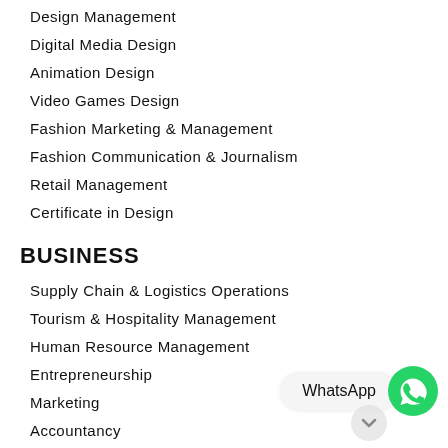Design Management
Digital Media Design
Animation Design
Video Games Design
Fashion Marketing & Management
Fashion Communication & Journalism
Retail Management
Certificate in Design
BUSINESS
Supply Chain & Logistics Operations
Tourism & Hospitality Management
Human Resource Management
Entrepreneurship
Marketing
Accountancy
E-Commerce